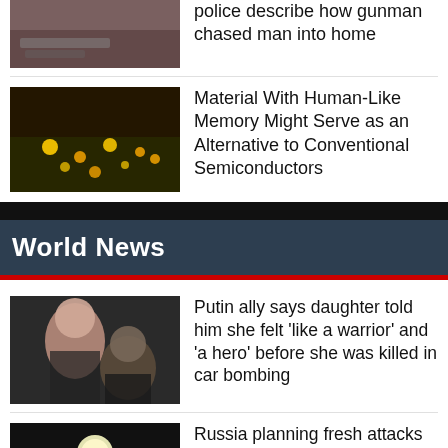[Figure (photo): Flood/street scene thumbnail]
police describe how gunman chased man into home
[Figure (photo): Golden lights/material science photo thumbnail]
Material With Human-Like Memory Might Serve as an Alternative to Conventional Semiconductors
World News
[Figure (photo): Putin ally's daughter and father photo thumbnail]
Putin ally says daughter told him she felt ‘like a warrior’ and ‘a hero’ before she was killed in car bombing
[Figure (photo): Dark street/moon/protest scene thumbnail]
Russia planning fresh attacks on Ukraine civilian infrastructure ahead of independence day, US warns
[Figure (photo): Green/outdoor scene thumbnail]
Putin ally ‘thirsting for revenge’ after Russia